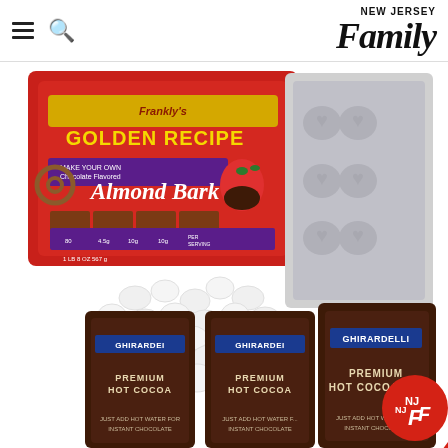NEW JERSEY Family
[Figure (photo): Product photo collage showing: a red bag of Frankly's Golden Recipe Chocolate Flavored Almond Bark, a white heart-shaped chocolate mold tray, white mini marshmallows scattered in the middle, and three brown bags of Ghirardelli Premium Hot Cocoa Mix at the bottom. A red NJF logo badge is in the bottom right corner.]